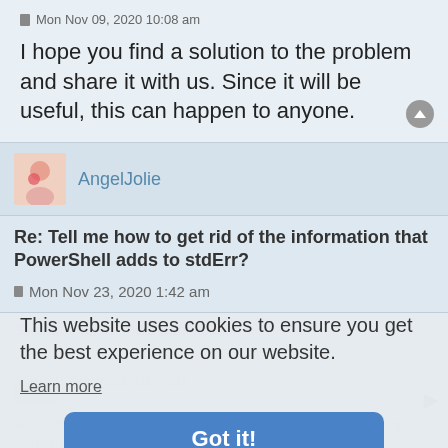Mon Nov 09, 2020 10:08 am
I hope you find a solution to the problem and share it with us. Since it will be useful, this can happen to anyone.
AngelJolie
Re: Tell me how to get rid of the information that PowerShell adds to stdErr?
Mon Nov 23, 2020 1:42 am
Similar problem, help with solution
This website uses cookies to ensure you get the best experience on our website.
Learn more
Got it!
AlexanderBiendk
Re: Tell me how to get rid of the information that PowerShell adds to stdErr?
Mon Nov 23, 2020 9:56